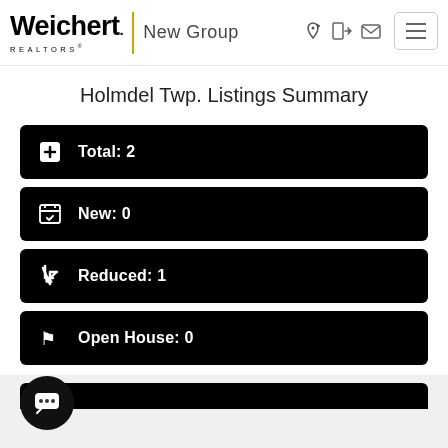[Figure (logo): Weichert Realtors New Group logo with yellow vertical divider bar]
Holmdel Twp. Listings Summary
Total: 2
New: 0
Reduced: 1
Open House: 0